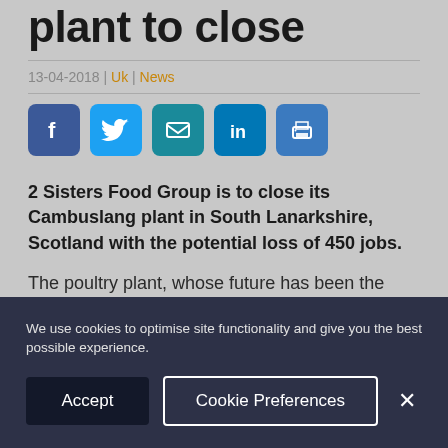plant to close
13-04-2018 | Uk | News
[Figure (infographic): Social sharing buttons: Facebook, Twitter, Email, LinkedIn, Print]
2 Sisters Food Group is to close its Cambuslang plant in South Lanarkshire, Scotland with the potential loss of 450 jobs.
The poultry plant, whose future has been the subject of speculation since February, will close in
We use cookies to optimise site functionality and give you the best possible experience.
Accept | Cookie Preferences | ×